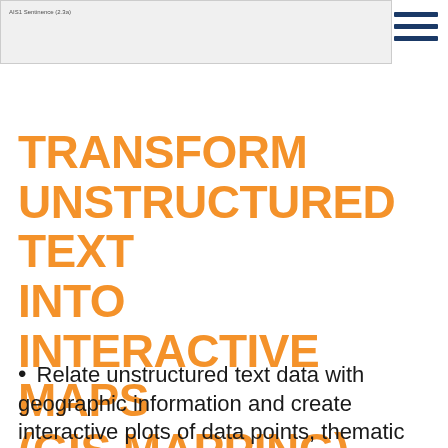[Figure (screenshot): A UI screenshot showing a toolbar or address bar with label 'AIS1 Sentinence (2.3a)' on a light gray background, with a dark navy hamburger menu icon (three horizontal lines) on the right side.]
TRANSFORM UNSTRUCTURED TEXT INTO INTERACTIVE MAPS (GIS MAPPING)
Relate unstructured text data with geographic information and create interactive plots of data points, thematic maps, and heatmaps, along with a geocoding